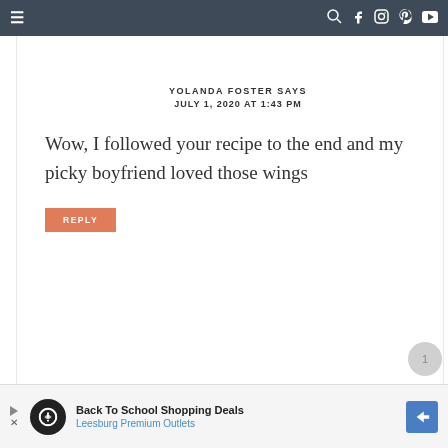Navigation bar with hamburger menu and social icons
YOLANDA FOSTER SAYS
JULY 1, 2020 AT 1:43 PM
Wow, I followed your recipe to the end and my picky boyfriend loved those wings
REPLY
Back To School Shopping Deals Leesburg Premium Outlets